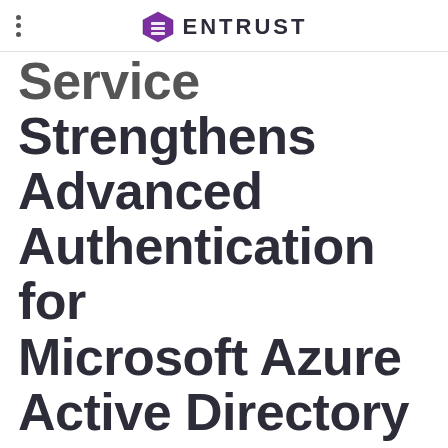ENTRUST
Service Strengthens Advanced Authentication for Microsoft Azure Active Directory Customers
News Room Media Inquiry
Ken Kadet / +1 952-988-1154 / ken.kadet@entrust.com
Share this